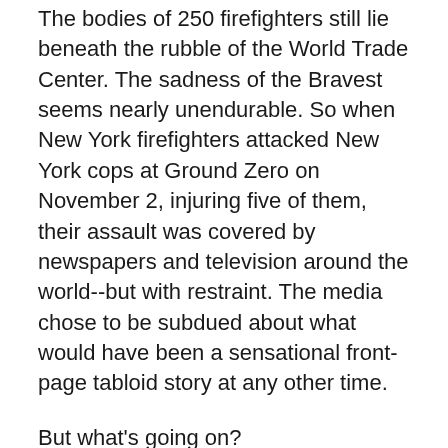The bodies of 250 firefighters still lie beneath the rubble of the World Trade Center. The sadness of the Bravest seems nearly unendurable. So when New York firefighters attacked New York cops at Ground Zero on November 2, injuring five of them, their assault was covered by newspapers and television around the world--but with restraint. The media chose to be subdued about what would have been a sensational front-page tabloid story at any other time.
But what's going on?
Firefighters had mounted a peaceful mid-morning march to protest City Hall's decision to reduce the fire, police, and emergency crew members who spot possible human remains in the debris. When the spotters identify remains, construction crews halt their work and rescue teams come in. Firefighters drape the remains in mourning and pray before carrying them out. The debris with no known remains is shipped off to the